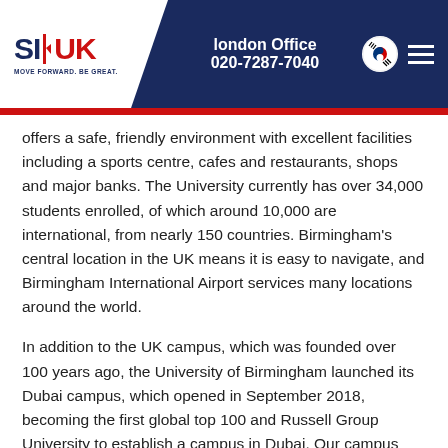london Office 020-7287-7040
offers a safe, friendly environment with excellent facilities including a sports centre, cafes and restaurants, shops and major banks. The University currently has over 34,000 students enrolled, of which around 10,000 are international, from nearly 150 countries. Birmingham's central location in the UK means it is easy to navigate, and Birmingham International Airport services many locations around the world.
In addition to the UK campus, which was founded over 100 years ago, the University of Birmingham launched its Dubai campus, which opened in September 2018, becoming the first global top 100 and Russell Group University to establish a campus in Dubai. Our campus offers the opportunity to gain a world-class British university education in one of the world's most dynamic and exciting cities. The University of Birmingham Dubai has been granted Initial Institutional Licensure by the UAE's Ministry of Education through the Commission for Academic Accreditation (CAA), recognising the quality of our educational experience, which stretches and challenges students to achieve their highest